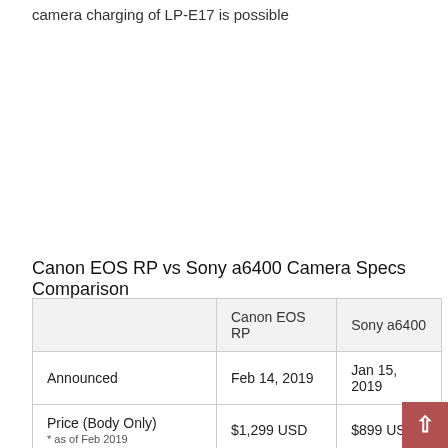camera charging of LP-E17 is possible
Canon EOS RP vs Sony a6400 Camera Specs Comparison
|  | Canon EOS RP | Sony a6400 |
| --- | --- | --- |
| Announced | Feb 14, 2019 | Jan 15, 2019 |
| Price (Body Only)
* as of Feb 2019 | $1,299 USD | $899 USD |